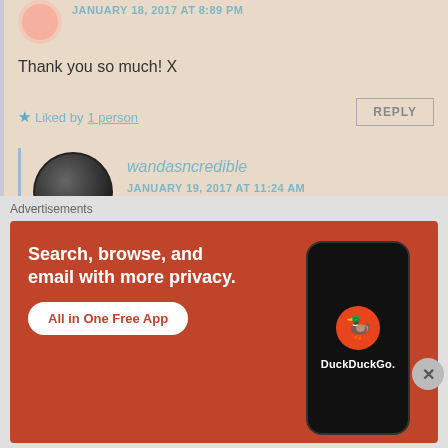JANUARY 18, 2017 AT 8:89 PM
Thank you so much! X
Liked by 1 person
REPLY
wandasncredible
JANUARY 19, 2017 AT 11:24 AM
yw dear...blessings!
Liked by 1 person
Advertisements
[Figure (infographic): DuckDuckGo advertisement banner: orange/red background with white text 'Search, browse, and email with more privacy.' and 'All in One Free App' button, plus a phone mockup with DuckDuckGo duck logo]